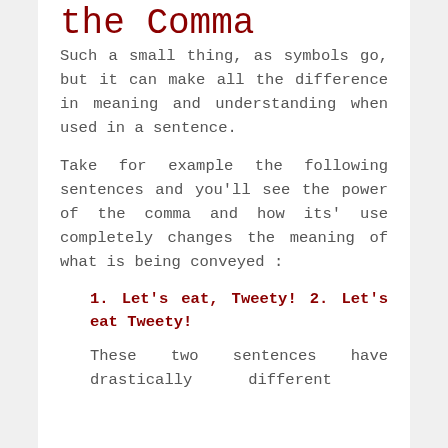the Comma
Such a small thing, as symbols go, but it can make all the difference in meaning and understanding when used in a sentence.
Take for example the following sentences and you'll see the power of the comma and how its' use completely changes the meaning of what is being conveyed :
1. Let's eat, Tweety! 2. Let's eat Tweety!
These two sentences have drastically different